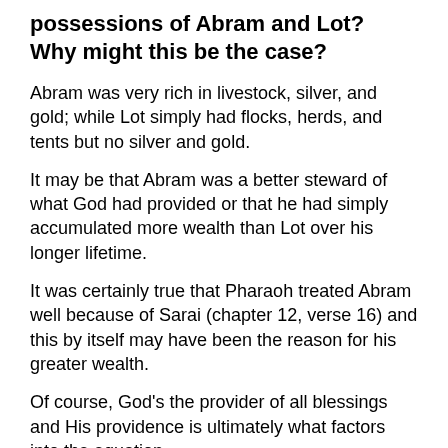possessions of Abram and Lot?  Why might this be the case?
Abram was very rich in livestock, silver, and gold; while Lot simply had flocks, herds, and tents but no silver and gold.
It may be that Abram was a better steward of what God had provided or that he had simply accumulated more wealth than Lot over his longer lifetime.
It was certainly true that Pharaoh treated Abram well because of Sarai (chapter 12, verse 16) and this by itself may have been the reason for his greater wealth.
Of course, God's the provider of all blessings and His providence is ultimately what factors into the equation.